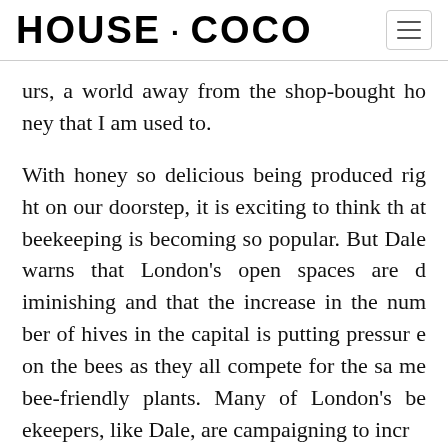HOUSE · COCO
urs, a world away from the shop-bought honey that I am used to.
With honey so delicious being produced right on our doorstep, it is exciting to think that beekeeping is becoming so popular. But Dale warns that London's open spaces are diminishing and that the increase in the number of hives in the capital is putting pressure on the bees as they all compete for the same bee-friendly plants. Many of London's beekeepers, like Dale, are campaigning to incr